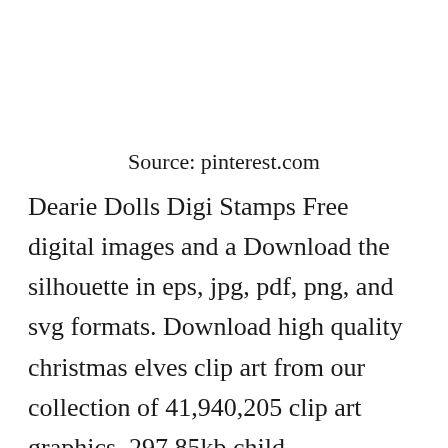Source: pinterest.com
Dearie Dolls Digi Stamps Free digital images and a Download the silhouette in eps, jpg, pdf, png, and svg formats. Download high quality christmas elves clip art from our collection of 41,940,205 clip art graphics. 297.85kb child development santa claus diary illustration, funny santa in chimney png size: Download christmas elf